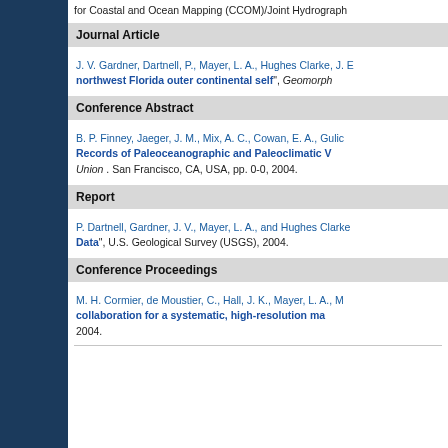for Coastal and Ocean Mapping (CCOM)/Joint Hydrograph
Journal Article
J. V. Gardner, Dartnell, P., Mayer, L. A., Hughes Clarke, J. ... "northwest Florida outer continental self", Geomorph...
Conference Abstract
B. P. Finney, Jaeger, J. M., Mix, A. C., Cowan, E. A., Gulic... "Records of Paleoceanographic and Paleoclimatic V..." Union . San Francisco, CA, USA, pp. 0-0, 2004.
Report
P. Dartnell, Gardner, J. V., Mayer, L. A., and Hughes Clark... "Data", U.S. Geological Survey (USGS), 2004.
Conference Proceedings
M. H. Cormier, de Moustier, C., Hall, J. K., Mayer, L. A., M... "collaboration for a systematic, high-resolution ma..." 2004.